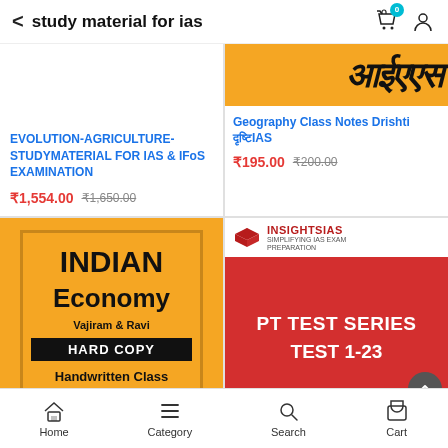study material for ias
[Figure (screenshot): Top-left product card showing EVOLUTION-AGRICULTURE-STUDYMATERIAL FOR IAS & IFoS EXAMINATION priced at ₹1,554.00 (original ₹1,650.00)]
[Figure (screenshot): Top-right product card showing Geography Class Notes Drishti दृष्टि IAS priced at ₹195.00 (original ₹200.00)]
[Figure (screenshot): Bottom-left product showing Indian Economy Vajiram & Ravi HARD COPY Handwritten Class book cover in yellow/black]
[Figure (screenshot): Bottom-right product showing INSIGHTS IAS PT TEST SERIES TEST 1-23 on red background]
Home  Category  Search  Cart